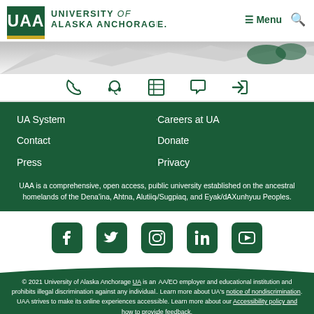[Figure (logo): University of Alaska Anchorage logo with UAA text in green box and gold bar, with university name text]
[Figure (illustration): Mountain silhouette banner with grey/white gradient and green UAA decorative elements]
[Figure (infographic): Icon bar with phone, headset, database/grid, chat bubble, and sign-in icons in green]
UA System
Careers at UA
Contact
Donate
Press
Privacy
UAA is a comprehensive, open access, public university established on the ancestral homelands of the Dena'ina, Ahtna, Alutiiq/Sugpiaq, and Eyak/dAXunhyuu Peoples.
[Figure (infographic): Social media icons: Facebook, Twitter, Instagram, LinkedIn, YouTube — all dark green rounded square buttons]
© 2021 University of Alaska Anchorage UA is an AA/EO employer and educational institution and prohibits illegal discrimination against any individual. Learn more about UA's notice of nondiscrimination. UAA strives to make its online experiences accessible. Learn more about our Accessibility policy and how to provide feedback.